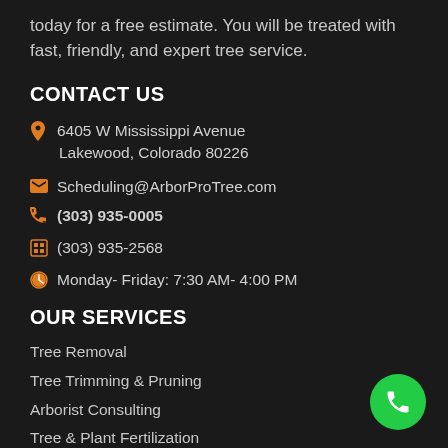today for a free estimate. You will be treated with fast, friendly, and expert tree service.
CONTACT US
6405 W Mississippi Avenue Lakewood, Colorado 80226
Scheduling@ArborProTree.com
(303) 935-0005
(303) 935-2568
Monday- Friday: 7:30 AM- 4:00 PM
OUR SERVICES
Tree Removal
Tree Trimming & Pruning
Arborist Consulting
Tree & Plant Fertilization